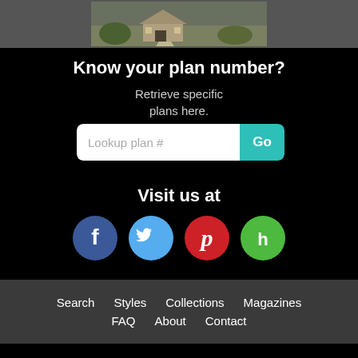[Figure (photo): Photo of a house exterior with green lawn]
Know your plan number?
Retrieve specific plans here.
[Figure (infographic): Search input field with placeholder 'Lookup plan #' and a teal Go button]
Visit us at
[Figure (infographic): Social media icons: Facebook (blue), Twitter (light blue), Pinterest (red), Houzz (green)]
Search   Styles   Collections   Magazines   FAQ   About   Contact
POPULAR STYLES